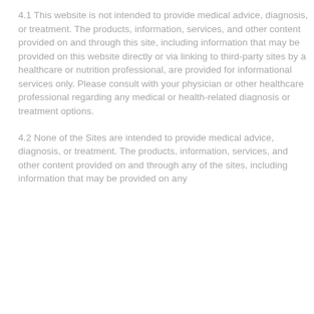4.1 This website is not intended to provide medical advice, diagnosis, or treatment. The products, information, services, and other content provided on and through this site, including information that may be provided on this website directly or via linking to third-party sites by a healthcare or nutrition professional, are provided for informational services only. Please consult with your physician or other healthcare professional regarding any medical or health-related diagnosis or treatment options.
4.2 None of the Sites are intended to provide medical advice, diagnosis, or treatment. The products, information, services, and other content provided on and through any of the sites, including information that may be provided on any